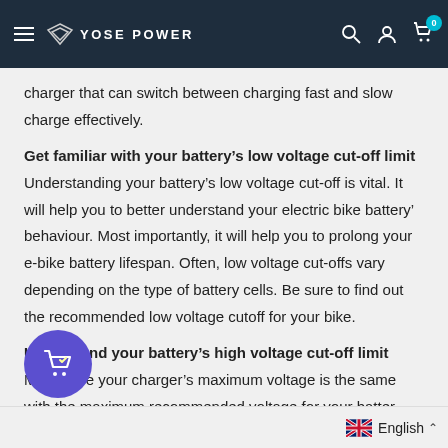YOSE POWER
charger that can switch between charging fast and slow charge effectively.
Get familiar with your battery’s low voltage cut-off limit
Understanding your battery’s low voltage cut-off is vital. It will help you to better understand your electric bike battery’ behaviour. Most importantly, it will help you to prolong your e-bike battery lifespan. Often, low voltage cut-offs vary depending on the type of battery cells. Be sure to find out the recommended low voltage cutoff for your bike.
Understand your battery’s high voltage cut-off limit
Make sure your charger’s maximum voltage is the same with the maximum recommended voltage for your batter
English